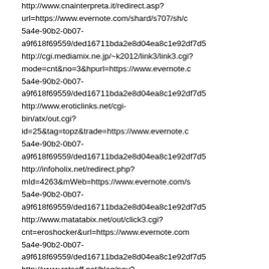http://www.cnainterpreta.it/redirect.asp?url=https://www.evernote.com/shard/s707/sh/c5a4e-90b2-0b07-a9f618f69559/ded16711bda2e8d04ea8c1e92df7d5 http://cgi.mediamix.ne.jp/~k2012/link3/link3.cgi?mode=cnt&no=3&hpurl=https://www.evernote.c5a4e-90b2-0b07-a9f618f69559/ded16711bda2e8d04ea8c1e92df7d5 http://www.eroticlinks.net/cgi-bin/atx/out.cgi?id=25&tag=topz&trade=https://www.evernote.c5a4e-90b2-0b07-a9f618f69559/ded16711bda2e8d04ea8c1e92df7d5 http://infoholix.net/redirect.php?mId=4263&mWeb=https://www.evernote.com/s5a4e-90b2-0b07-a9f618f69559/ded16711bda2e8d04ea8c1e92df7d5 http://www.matatabix.net/out/click3.cgi?cnt=eroshocker&url=https://www.evernote.com5a4e-90b2-0b07-a9f618f69559/ded16711bda2e8d04ea8c1e92df7d5 http://www.ratsoff.net/blog/nav?